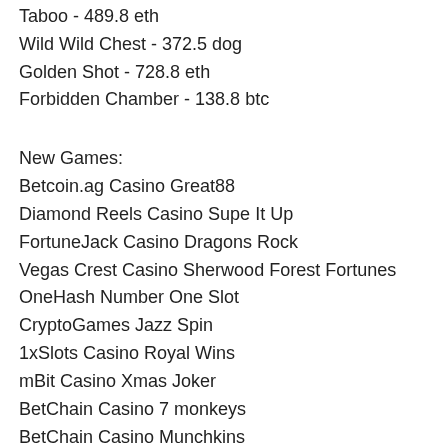Taboo - 489.8 eth
Wild Wild Chest - 372.5 dog
Golden Shot - 728.8 eth
Forbidden Chamber - 138.8 btc
New Games:
Betcoin.ag Casino Great88
Diamond Reels Casino Supe It Up
FortuneJack Casino Dragons Rock
Vegas Crest Casino Sherwood Forest Fortunes
OneHash Number One Slot
CryptoGames Jazz Spin
1xSlots Casino Royal Wins
mBit Casino Xmas Joker
BetChain Casino 7 monkeys
BetChain Casino Munchkins
Mars Casino Exotic Fruit Deluxe
CryptoGames Golden Gorilla
mBit Casino Egypt Gods